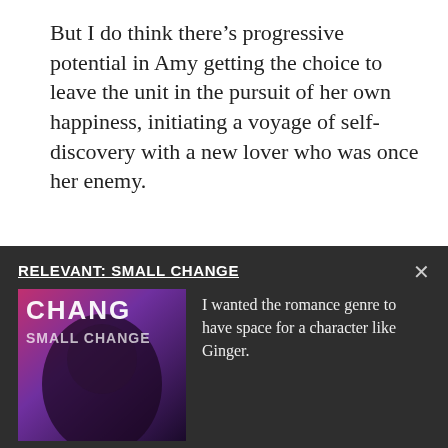But I do think there’s progressive potential in Amy getting the choice to leave the unit in the pursuit of her own happiness, initiating a voyage of self-discovery with a new lover who was once her enemy.
Add new comment
[Figure (photo): Photo of a person with dark hair (author photo), partially visible]
BY ALYX VESEY
RELEVANT: SMALL CHANGE
[Figure (photo): Book/album cover for Small Change showing a person's face with pink and purple tones and bold text 'CHANGE']
I wanted the romance genre to have space for a character like Ginger.